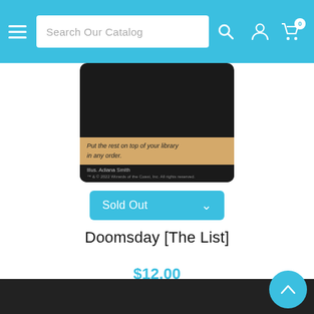Search Our Catalog
[Figure (photo): Magic: The Gathering card - Doomsday [The List], showing card text 'Put the rest on top of your library in any order.' Illus. Adiana Smith]
Sold Out
Doomsday [The List]
$12.00
[Figure (infographic): Three circular blue action buttons: eye/view, heart/wishlist, and shopping cart icons]
[Figure (infographic): Navigation arrows: left chevron and right chevron in circular outline buttons]